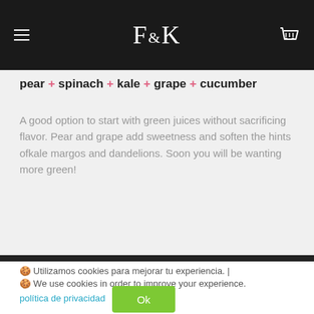F&K
pear + spinach + kale + grape + cucumber
A good option to start with green juices without sacrificing flavor. Pear and grape add sweetness and soften the hints ofkale margos and dandelions. Soon you will be wanting more green!
🍪 Utilizamos cookies para mejorar tu experiencia. |
🍪 We use cookies in order to improve your experience.
política de privacidad
Ok